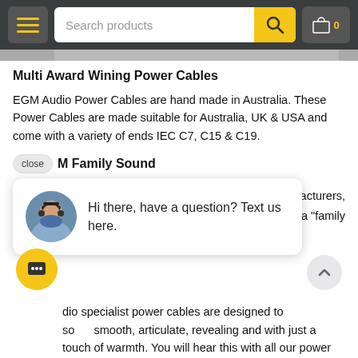Search products | cart 0
Multi Award Wining Power Cables
EGM Audio Power Cables are hand made in Australia. These Power Cables are made suitable for Australia, UK & USA and come with a variety of ends IEC C7, C15 & C19.
[Figure (screenshot): Chat popup overlay showing avatar of a man with headphones and text: 'Hi there, have a question? Text us here.' with a close button and partial section header 'M Family Sound' visible behind.]
dio specialist power cables are designed to sound smooth, articulate, revealing and with just a touch of warmth. You will hear this with all our power cables,